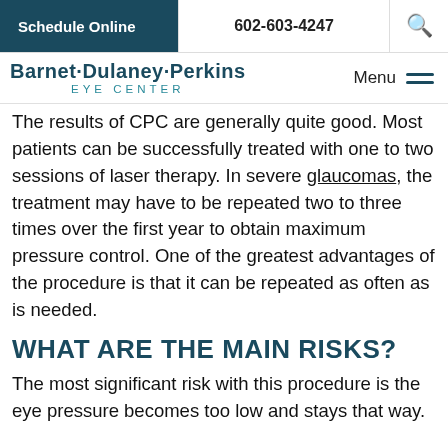Schedule Online | 602-603-4247 | [search]
[Figure (logo): Barnet·Dulaney·Perkins Eye Center logo with Menu hamburger icon]
The results of CPC are generally quite good. Most patients can be successfully treated with one to two sessions of laser therapy. In severe glaucomas, the treatment may have to be repeated two to three times over the first year to obtain maximum pressure control. One of the greatest advantages of the procedure is that it can be repeated as often as is needed.
WHAT ARE THE MAIN RISKS?
The most significant risk with this procedure is the eye pressure becomes too low and stays that way.